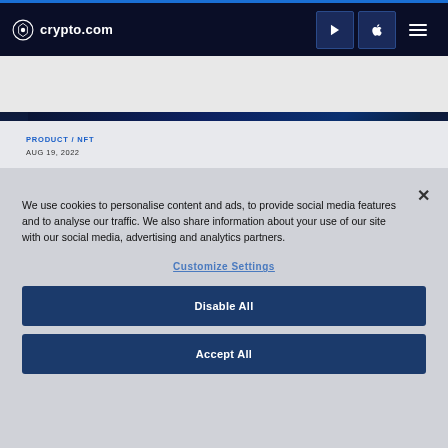crypto.com
[Figure (screenshot): Dark blue hero image strip from crypto.com website]
PRODUCT / NFT
AUG 19, 2022
We use cookies to personalise content and ads, to provide social media features and to analyse our traffic. We also share information about your use of our site with our social media, advertising and analytics partners.
Customize Settings
Disable All
Accept All